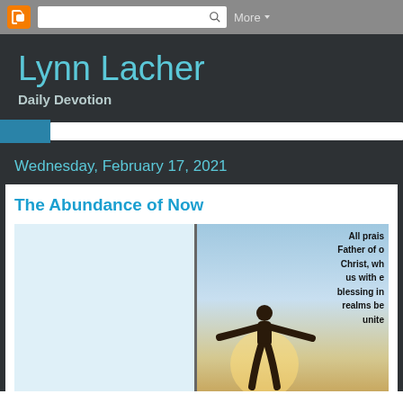Blogger navigation bar with search
Lynn Lacher
Daily Devotion
Wednesday, February 17, 2021
The Abundance of Now
[Figure (illustration): A silhouetted person standing with arms outstretched against a gradient sky background, with overlaid scripture text: 'All praise to the Father of our Lord Christ, who has blessed us with every spiritual blessing in the heavenly realms because we are united']